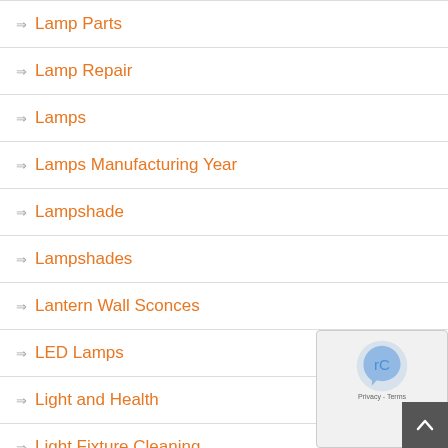Lamp Parts
Lamp Repair
Lamps
Lamps Manufacturing Year
Lampshade
Lampshades
Lantern Wall Sconces
LED Lamps
Light and Health
Light Fixture Cleaning